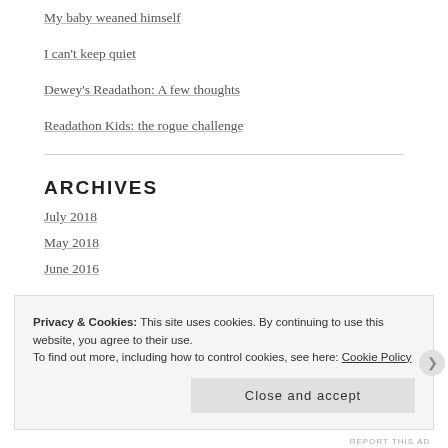My baby weaned himself
I can't keep quiet
Dewey's Readathon: A few thoughts
Readathon Kids: the rogue challenge
ARCHIVES
July 2018
May 2018
June 2016
Privacy & Cookies: This site uses cookies. By continuing to use this website, you agree to their use.
To find out more, including how to control cookies, see here: Cookie Policy
Close and accept
REPORT THIS AD